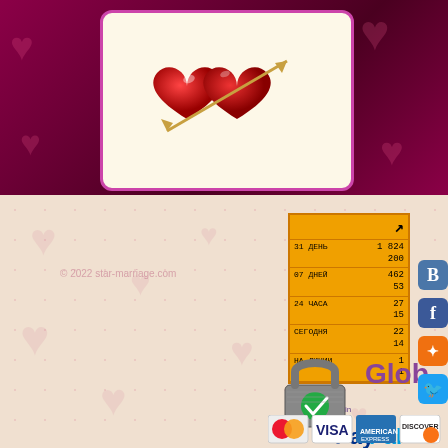[Figure (illustration): Two red hearts pierced by an arrow on a cream-colored card with pink border, against a dark maroon/purple background with heart pattern]
© 2022 star-marriage.com
|  |  |
| --- | --- |
| 31 ДЕНЬ | 1 824
200 |
| 07 ДНЕЙ | 462
53 |
| 24 ЧАСА | 27
15 |
| СЕГОДНЯ | 22
14 |
| НА ЛИНИИ | 1
1 |
[Figure (logo): Green padlock security logo with GlobalSign branding]
[Figure (logo): PayPal logo]
[Figure (logo): Credit card icons: MasterCard, VISA, American Express, Discover]